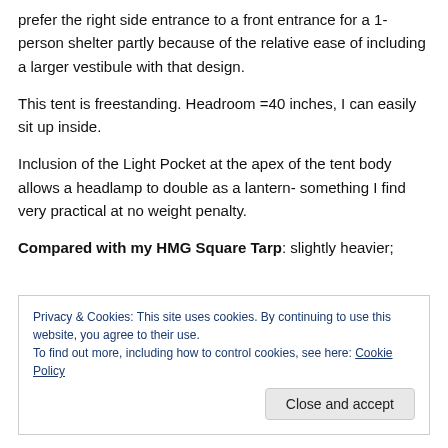prefer the right side entrance to a front entrance for a 1-person shelter partly because of the relative ease of including a larger vestibule with that design.
This tent is freestanding. Headroom =40 inches, I can easily sit up inside.
Inclusion of the Light Pocket at the apex of the tent body allows a headlamp to double as a lantern- something I find very practical at no weight penalty.
Compared with my HMG Square Tarp: slightly heavier;
Privacy & Cookies: This site uses cookies. By continuing to use this website, you agree to their use.
To find out more, including how to control cookies, see here: Cookie Policy
Close and accept